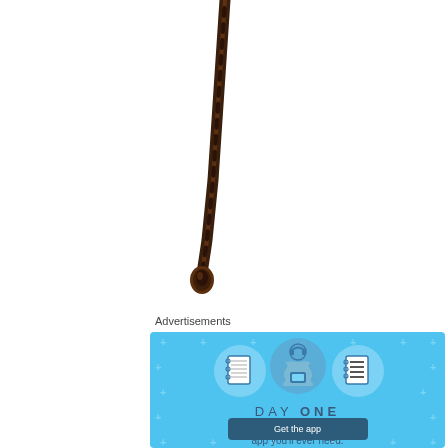[Figure (photo): A dark brown braided whip handle hanging from the top, tapering to a knot at the bottom, against a white background.]
Advertisements
[Figure (infographic): Day One journaling app advertisement. Light blue background with decorative plus signs. Three circular icons showing a notebook, a person holding a phone, and a list/document. Text reads 'DAY ONE' and 'The only journaling app you'll ever need.' with a 'Get the app' button.]